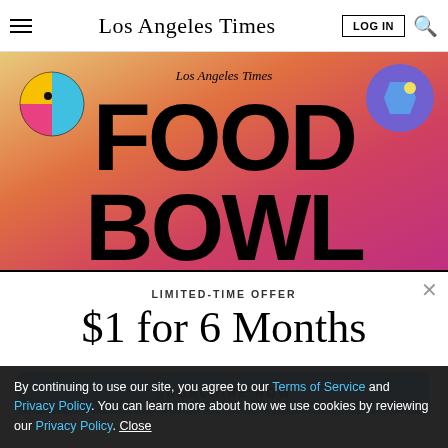Los Angeles Times
[Figure (illustration): Los Angeles Times Food Bowl promotional banner with colorful decorative elements, large bold text reading FOOD BOWL on a warm gradient background from yellow-orange to pink-magenta]
LIMITED-TIME OFFER
$1 for 6 Months
SUBSCRIBE NOW
By continuing to use our site, you agree to our Terms of Service and Privacy Policy. You can learn more about how we use cookies by reviewing our Privacy Policy. Close